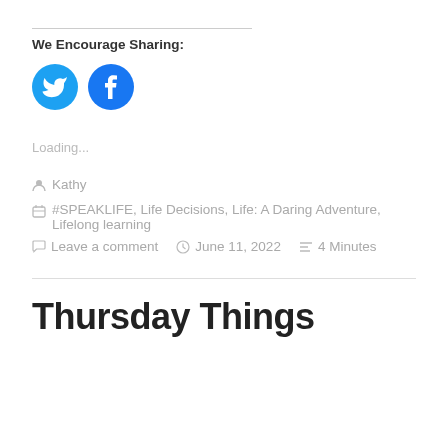We Encourage Sharing:
[Figure (illustration): Two circular social media icons: Twitter (blue bird icon) and Facebook (blue F icon)]
Loading...
Kathy
#SPEAKLIFE, Life Decisions, Life: A Daring Adventure, Lifelong learning
Leave a comment   June 11, 2022   4 Minutes
Thursday Things